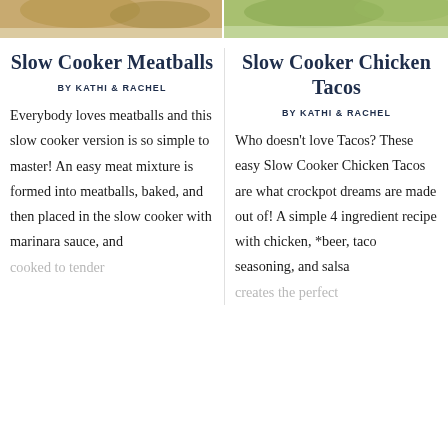[Figure (photo): Top portion of a food photo showing meatballs (left) and chicken tacos (right), cropped at top of page]
Slow Cooker Meatballs
BY KATHI & RACHEL
Everybody loves meatballs and this slow cooker version is so simple to master! An easy meat mixture is formed into meatballs, baked, and then placed in the slow cooker with marinara sauce, and cooked to tender
Slow Cooker Chicken Tacos
BY KATHI & RACHEL
Who doesn't love Tacos? These easy Slow Cooker Chicken Tacos are what crockpot dreams are made out of! A simple 4 ingredient recipe with chicken, *beer, taco seasoning, and salsa creates the perfect